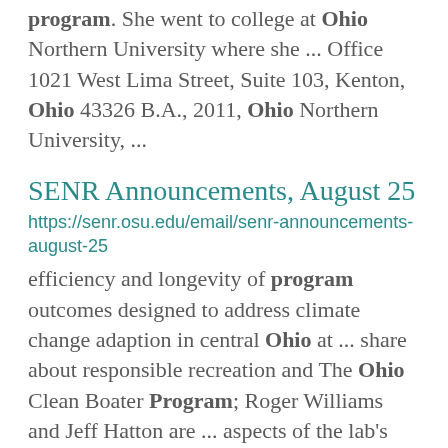program. She went to college at Ohio Northern University where she ... Office 1021 West Lima Street, Suite 103, Kenton, Ohio 43326 B.A., 2011, Ohio Northern University, ...
SENR Announcements, August 25
https://senr.osu.edu/email/senr-announcements-august-25
efficiency and longevity of program outcomes designed to address climate change adaption in central Ohio at ... share about responsible recreation and The Ohio Clean Boater Program; Roger Williams and Jeff Hatton are ... aspects of the lab's